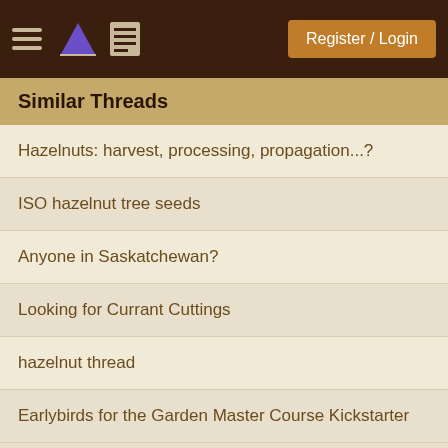Register / Login
Similar Threads
Hazelnuts: harvest, processing, propagation...?
ISO hazelnut tree seeds
Anyone in Saskatchewan?
Looking for Currant Cuttings
hazelnut thread
Earlybirds for the Garden Master Course Kickstarter
More...
All times above are in ranch (not your local) time.
The current ranch time is